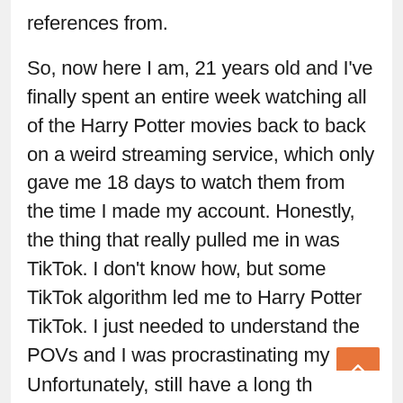references from.
So, now here I am, 21 years old and I've finally spent an entire week watching all of the Harry Potter movies back to back on a weird streaming service, which only gave me 18 days to watch them from the time I made my account. Honestly, the thing that really pulled me in was TikTok. I don't know how, but some TikTok algorithm led me to Harry Potter TikTok. I just needed to understand the POVs and I was procrastinating my senior thesis so hard.
Unfortunately, still have a long th…